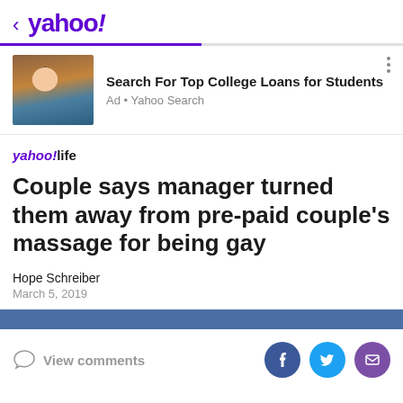< yahoo!
[Figure (screenshot): Yahoo ad banner with image of woman on phone with laptop, promoting Search For Top College Loans for Students via Yahoo Search]
yahoo!life
Couple says manager turned them away from pre-paid couple's massage for being gay
Hope Schreiber
March 5, 2019
View comments